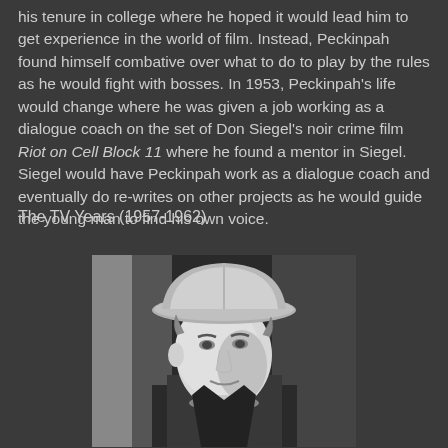his tenure in college where he hoped it would lead him to get experience in the world of film. Instead, Peckinpah found himself combative over what to do to play by the rules as he would fight with bosses. In 1953, Peckinpah's life would change where he was given a job working as a dialogue coach on the set of Don Siegel's noir crime film Riot on Cell Block 11 where he found a mentor in Siegel. Siegel would have Peckinpah work as a dialogue coach and eventually do re-writes on other projects as he would guide the young man to find his own voice.
The TV Years (1957-1962)
[Figure (photo): Black and white photograph of a man wearing a cowboy hat, looking slightly to the side. The image appears to be from the 1950s or 1960s era.]